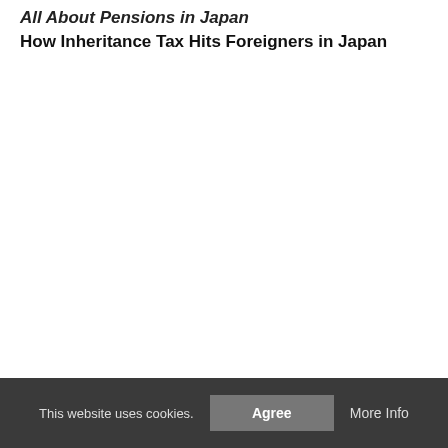All About Pensions in Japan
How Inheritance Tax Hits Foreigners in Japan
This website uses cookies.
Agree
More Info